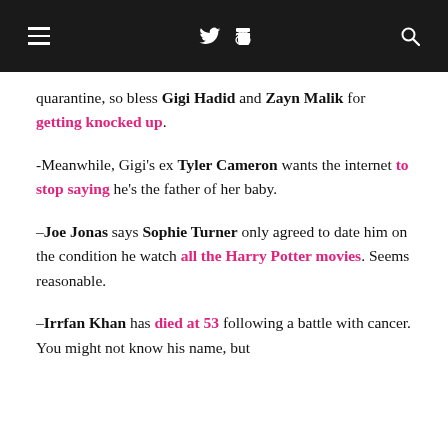≡  𝕏 ⋮ 🔍
quarantine, so bless Gigi Hadid and Zayn Malik for getting knocked up.
-Meanwhile, Gigi's ex Tyler Cameron wants the internet to stop saying he's the father of her baby.
–Joe Jonas says Sophie Turner only agreed to date him on the condition he watch all the Harry Potter movies. Seems reasonable.
–Irrfan Khan has died at 53 following a battle with cancer. You might not know his name, but